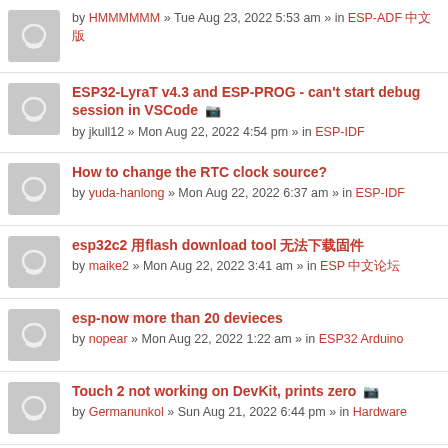by HMMMMMM » Tue Aug 23, 2022 5:53 am » in ESP-ADF 中文版
ESP32-LyraT v4.3 and ESP-PROG - can't start debug session in VSCode by jkull12 » Mon Aug 22, 2022 4:54 pm » in ESP-IDF
How to change the RTC clock source? by yuda-hanlong » Mon Aug 22, 2022 6:37 am » in ESP-IDF
esp32c2 用flash download tool 无法下载固件 by maike2 » Mon Aug 22, 2022 3:41 am » in ESP 中文论坛
esp-now more than 20 devieces by nopear » Mon Aug 22, 2022 1:22 am » in ESP32 Arduino
Touch 2 not working on DevKit, prints zero by Germanunkol » Sun Aug 21, 2022 6:44 pm » in Hardware